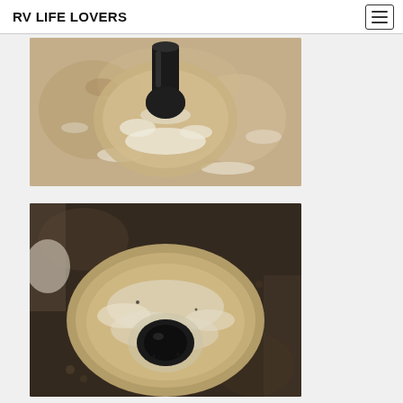RV LIFE LOVERS
[Figure (photo): Close-up top-down view of a black cylindrical pipe or anchor bolt inserted into a corroded, chalky beige/tan circular base or mount with white mineral deposits and rust stains]
[Figure (photo): Top-down view of a dark corroded surface with a beige bowl-shaped recess containing a black circular rubber grommet or pipe end surrounded by white powder/mineral deposits and debris]